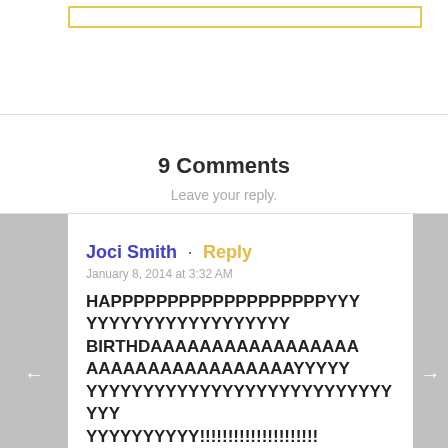9 Comments
Leave your reply.
Joci Smith · Reply
January 8, 2014 at 3:32 AM
HAPPPPPPPPPPPPPPPPPPPYYY YYYYYYYYYYYYYYYYYY BIRTHDAAAAAAAAAAAAAAAAA AAAAAAAAAAAAAAAAAYYYYYYY YYYYYYYYYYYYYYYYYYYYYYYYYYYYYY YYYYYYYYYY!!!!!!!!!!!!!!!!!!!!!!! !!!!!!!!!!!!!!!!!!!!!!!!!!!!!!!! !!!!!!!!!!!!!!!!!!